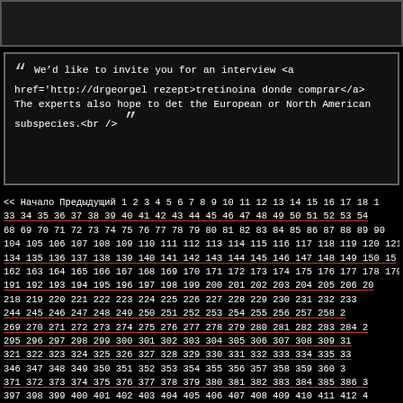[Figure (screenshot): Dark top bar / header region]
“ We’d like to invite you for an interview <a href='http://drgeorgel rezept>tretinoina donde comprar</a> The experts also hope to det the European or North American subspecies.<br /> ”
<< Начало Предыдущий 1 2 3 4 5 6 7 8 9 10 11 12 13 14 15 16 17 18 19 20 21 22 23 24 25 26 27 28 29 30 31 32 33 34 35 36 37 38 39 40 41 42 43 44 45 46 47 48 49 50 51 52 53 54 55 56 57 58 59 60 61 62 63 64 65 66 67 68 69 70 71 72 73 74 75 76 77 78 79 80 81 82 83 84 85 86 87 88 89 90 91 92 93 94 95 96 97 98 99 100 101 102 103 104 105 106 107 108 109 110 111 112 113 114 115 116 117 118 119 120 121 122 123 124 125 126 127 128 129 130 131 132 133 134 135 136 137 138 139 140 141 142 143 144 145 146 147 148 149 150 151 152 153 154 155 156 157 158 159 160 161 162 163 164 165 166 167 168 169 170 171 172 173 174 175 176 177 178 179 180 181 182 183 184 185 186 187 188 189 190 191 192 193 194 195 196 197 198 199 200 201 202 203 204 205 206 207 208 209 210 211 212 213 214 215 216 217 218 219 220 221 222 223 224 225 226 227 228 229 230 231 232 233 234 235 236 237 238 239 240 241 242 243 244 245 246 247 248 249 250 251 252 253 254 255 256 257 258 259 260 261 262 263 264 265 266 267 268 269 270 271 272 273 274 275 276 277 278 279 280 281 282 283 284 285 286 287 288 289 290 291 292 293 294 295 296 297 298 299 300 301 302 303 304 305 306 307 308 309 310 311 312 313 314 315 316 317 318 319 320 321 322 323 324 325 326 327 328 329 330 331 332 333 334 335 336 337 338 339 340 341 342 343 344 345 346 347 348 349 350 351 352 353 354 355 356 357 358 359 360 361 362 363 364 365 366 367 368 369 370 371 372 373 374 375 376 377 378 379 380 381 382 383 384 385 386 387 388 389 390 391 392 393 394 395 396 397 398 399 400 401 402 403 404 405 406 407 408 409 410 411 412 413 414 415 416 417 418 419 420 421 422 423 424 425 426 427 428 429 430 431 432 433 434 435 436 437 438 439 440 441 442 443 444 445 446 447 448 449 450 451 452 453 454 455 456 457 458 459 460 461 462 463 464 465 466 467 468 469 470 471 472 473 474 475 476 477 478 479 480 481 482 483 484 485 486 487 488 489 490